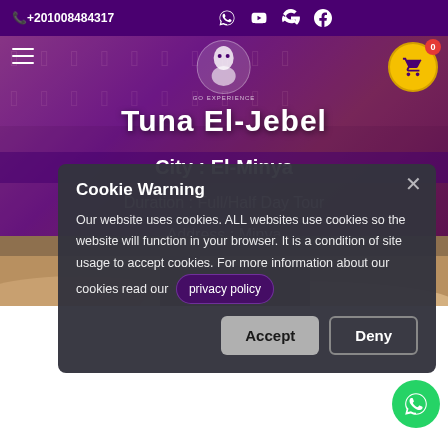+201008484317
Tuna El-Jebel
City : El-Minya
Duration : Full/Half Day Tour
Address : Minya
Cookie Warning
Our website uses cookies. ALL websites use cookies so the website will function in your browser. It is a condition of site usage to accept cookies. For more information about our cookies read our privacy policy
[Figure (screenshot): Travel/tourism website screenshot showing Tuna El-Jebel page with Egyptian hieroglyphic background, cookie consent dialog, Accept and Deny buttons, and WhatsApp floating button]